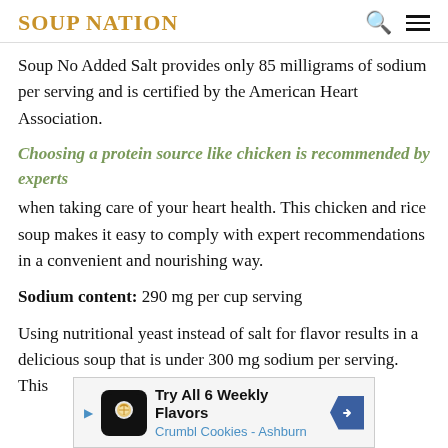SOUP NATION
Soup No Added Salt provides only 85 milligrams of sodium per serving and is certified by the American Heart Association.
Choosing a protein source like chicken is recommended by experts
when taking care of your heart health. This chicken and rice soup makes it easy to comply with expert recommendations in a convenient and nourishing way.
Sodium content: 290 mg per cup serving
Using nutritional yeast instead of salt for flavor results in a delicious soup that is under 300 mg sodium per serving. This
[Figure (infographic): Advertisement banner for Crumbl Cookies - Ashburn: Try All 6 Weekly Flavors]